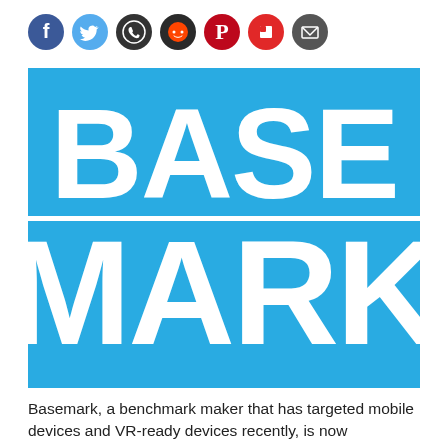[Figure (logo): Row of social sharing icon buttons: Facebook (blue circle), Twitter (light blue circle), WhatsApp (green circle), Reddit (dark circle), Pinterest (red circle), Flipboard (red circle), Email (dark circle)]
[Figure (logo): Basemark logo: bright blue rectangle with white bold text 'BASE' on top row and 'MARK' on bottom row, separated by a white horizontal line]
Basemark, a benchmark maker that has targeted mobile devices and VR-ready devices recently, is now